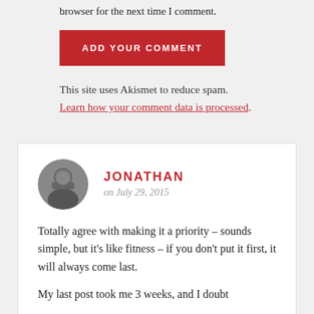browser for the next time I comment.
ADD YOUR COMMENT
This site uses Akismet to reduce spam. Learn how your comment data is processed.
JONATHAN
on July 29, 2015
Totally agree with making it a priority – sounds simple, but it's like fitness – if you don't put it first, it will always come last.
My last post took me 3 weeks, and I doubt